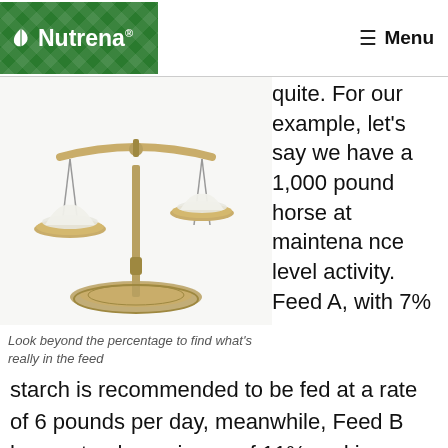Nutrena | Menu
[Figure (photo): A gold balance scale with two pans, each holding a mound of white powder (starch/feed), set against a white background.]
Look beyond the percentage to find what's really in the feed
quite. For our example, let's say we have a 1,000 pound horse at maintenance level activity. Feed A, with 7% starch is recommended to be fed at a rate of 6 pounds per day, meanwhile, Feed B has a starch maximum of 11% and is recommended to be fed at a rate of 2.5 pounds per day.